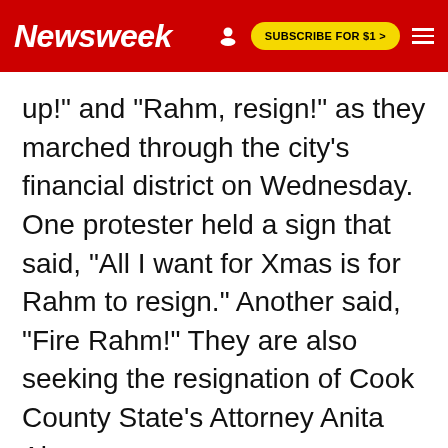Newsweek | SUBSCRIBE FOR $1 >
up!" and "Rahm, resign!" as they marched through the city's financial district on Wednesday. One protester held a sign that said, "All I want for Xmas is for Rahm to resign." Another said, "Fire Rahm!" They are also seeking the resignation of Cook County State's Attorney Anita Alvarez.